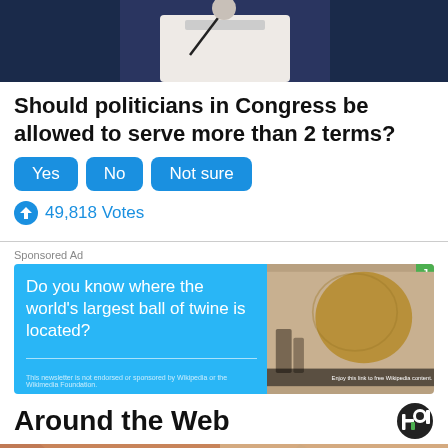[Figure (photo): Top portion of a photo showing a person in a white shirt against a dark blue background, partially cropped]
Should politicians in Congress be allowed to serve more than 2 terms?
Yes   No   Not sure
49,818 Votes
Sponsored Ad
[Figure (screenshot): Sponsored advertisement banner with blue background asking 'Do you know where the world's largest ball of twine is located?' with an image of a large ball of twine]
Around the Web
[Figure (photo): Bottom partial photo showing skin/neck area, likely a thumbnail for a web article]